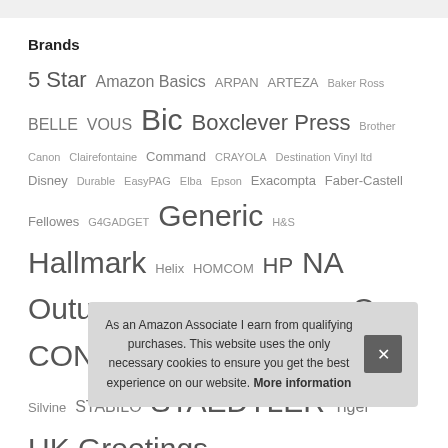Brands
5 Star Amazon Basics ARPAN ARTEZA Baker Ross BELLE VOUS Bic Boxclever Press Brother Canon Clairefontaine Command CRAYOLA Destination Vinyl ltd Disney Durable EasyPAG Elba Epson Exacompta Faber-Castell Fellowes G4GADGET Generic H&S Hallmark Helix HOMCOM HP NA Outus Paper Mate PARKER Pilot Pukka Pad Q-CONNECT Rapesco Really Useful Box Silvine STABILO STAEDTLER Tiger UK Greetings Unknown Zebra
Rec
Top 10 Marrutt Photo Paper A4 UK – Photo Paper
As an Amazon Associate I earn from qualifying purchases. This website uses the only necessary cookies to ensure you get the best experience on our website. More information